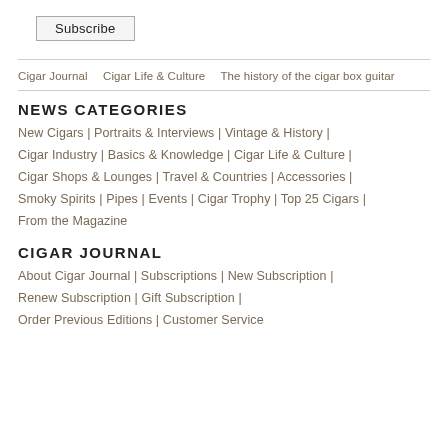Subscribe
Cigar Journal   Cigar Life & Culture   The history of the cigar box guitar
NEWS CATEGORIES
New Cigars | Portraits & Interviews | Vintage & History | Cigar Industry | Basics & Knowledge | Cigar Life & Culture | Cigar Shops & Lounges | Travel & Countries | Accessories | Smoky Spirits | Pipes | Events | Cigar Trophy | Top 25 Cigars | From the Magazine
CIGAR JOURNAL
About Cigar Journal | Subscriptions | New Subscription | Renew Subscription | Gift Subscription | Order Previous Editions | Customer Service